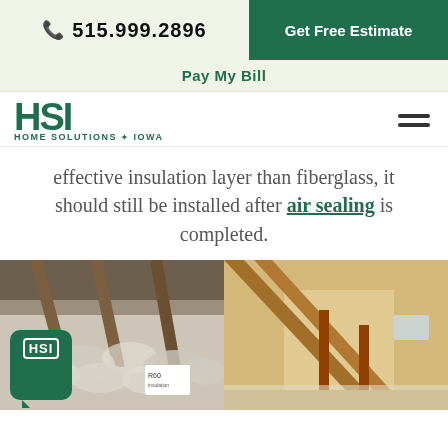515.999.2896 | Get Free Estimate
Pay My Bill
[Figure (logo): HSI Home Solutions of Iowa logo with hamburger menu icon]
effective insulation layer than fiberglass, it should still be installed after air sealing is completed.
[Figure (photo): Left: attic with blown-in insulation (white/gray fluffy material) with an R60 label visible. Right: empty attic with wooden rafters and light-colored loose insulation on the floor.]